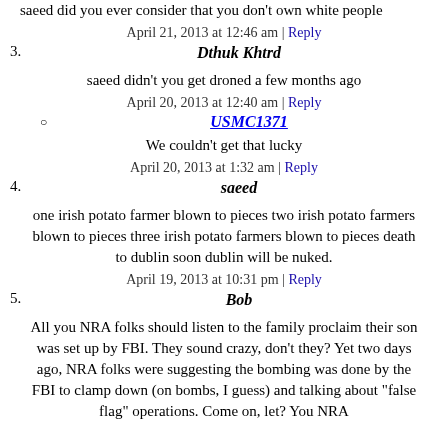saeed did you ever consider that you don't own white people
April 21, 2013 at 12:46 am | Reply
3. Dthuk Khtrd
saeed didn't you get droned a few months ago
April 20, 2013 at 12:40 am | Reply
○ USMC1371
We couldn't get that lucky
April 20, 2013 at 1:32 am | Reply
4. saeed
one irish potato farmer blown to pieces two irish potato farmers blown to pieces three irish potato farmers blown to pieces death to dublin soon dublin will be nuked.
April 19, 2013 at 10:31 pm | Reply
5. Bob
All you NRA folks should listen to the family proclaim their son was set up by FBI. They sound crazy, don't they? Yet two days ago, NRA folks were suggesting the bombing was done by the FBI to clamp down (on bombs, I guess) and talking about "false flag" operations. Come on, let? You NRA